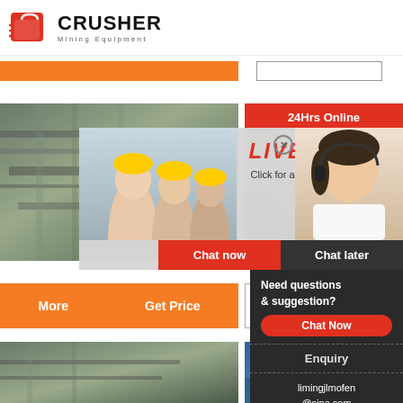[Figure (logo): Crusher Mining Equipment logo with red shopping bag icon and bold CRUSHER text]
[Figure (photo): Orange button bar at top]
[Figure (photo): White input box at top right]
[Figure (photo): Industrial machinery/conveyor belt photo on left]
[Figure (photo): Mining/quarry photo on right]
24Hrs Online
[Figure (infographic): Live chat overlay popup with workers in hard hats and headset woman. Text: LIVE CHAT, Click for a Free Consultation, Chat now, Chat later buttons]
[Figure (photo): Orange More / Get Price button bar]
Email c
[Figure (infographic): Dark sidebar panel: Need questions & suggestion? Chat Now button, Enquiry section, limingjlmofen@sina.com]
[Figure (photo): Bottom left industrial photo]
[Figure (photo): Bottom right blue photo]